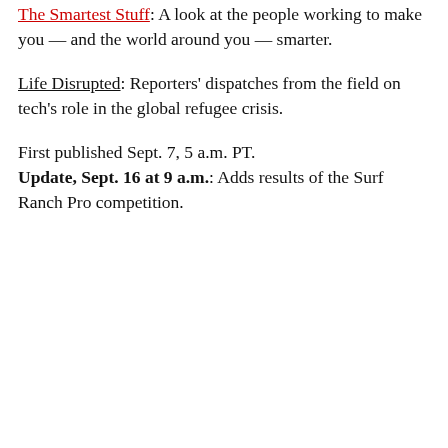The Smartest Stuff: A look at the people working to make you — and the world around you — smarter.
Life Disrupted: Reporters' dispatches from the field on tech's role in the global refugee crisis.
First published Sept. 7, 5 a.m. PT. Update, Sept. 16 at 9 a.m.: Adds results of the Surf Ranch Pro competition.